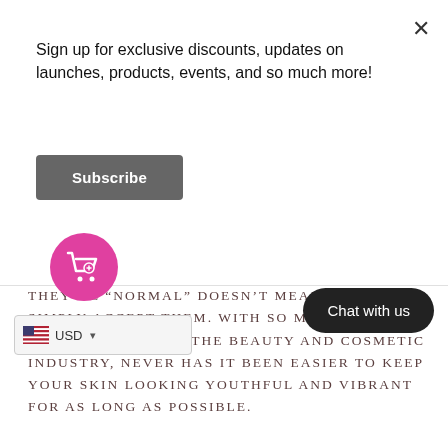Sign up for exclusive discounts, updates on launches, products, events, and so much more!
Subscribe
THEY'RE "NORMAL" DOESN'T MEAN WE HAVE TO SIMPLY ACCEPT THEM. WITH SO MANY ADVANCEMENTS IN THE BEAUTY AND COSMETIC INDUSTRY, NEVER HAS IT BEEN EASIER TO KEEP YOUR SKIN LOOKING YOUTHFUL AND VIBRANT FOR AS LONG AS POSSIBLE.
Interested?
WE... RST, WE RECOMMEND R... OF ARTICLES ON AGING, AND HOW YOU CAN KEEP YOUR SKIN LOOKING AGELESS.